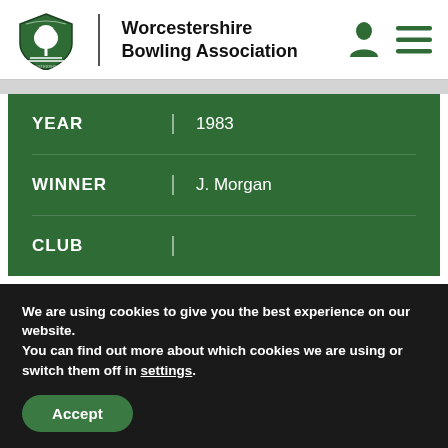Worcestershire Bowling Association
| Field | Value |
| --- | --- |
| YEAR | 1983 |
| WINNER | J. Morgan |
| CLUB |  |
We are using cookies to give you the best experience on our website.
You can find out more about which cookies we are using or switch them off in settings.
Accept